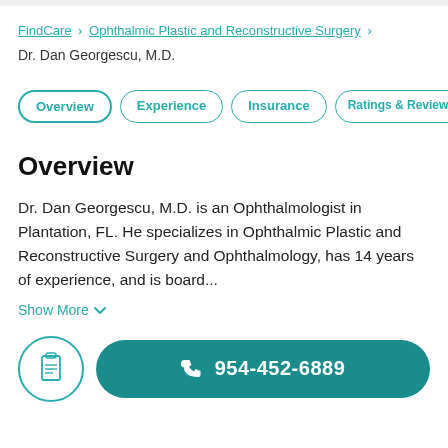FindCare › Ophthalmic Plastic and Reconstructive Surgery › Dr. Dan Georgescu, M.D.
Overview
Experience
Insurance
Ratings & Reviews
Overview
Dr. Dan Georgescu, M.D. is an Ophthalmologist in Plantation, FL. He specializes in Ophthalmic Plastic and Reconstructive Surgery and Ophthalmology, has 14 years of experience, and is board...
Show More
954-452-6889